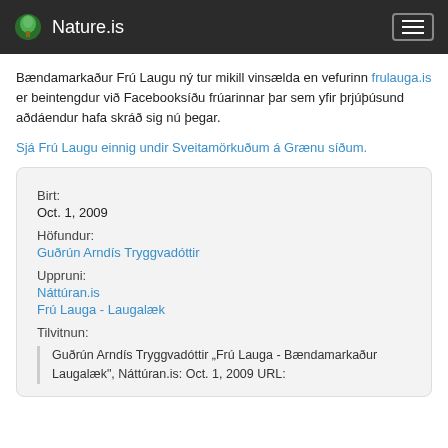Nature.is
Bændamarkaður Frú Laugu ný tur mikill vinsælda en vefurinn frulauga.is er beintengdur við Facebooksíðu frúarinnar þar sem yfir þrjúþúsund aðdáendur hafa skráð sig nú þegar.
Sjá Frú Laugu einnig undir Sveitamörkuðum á Grænu síðum.
| Birt: |  |
| Oct. 1, 2009 |  |
| Höfundur: |  |
| Guðrún Arndís Tryggvadóttir |  |
| Uppruni: |  |
| Náttúran.is |  |
| Frú Lauga - Laugalæk |  |
| Tilvitnun: |  |
| Guðrún Arndís Tryggvadóttir „Frú Lauga - Bændamarkaður Laugalæk", Náttúran.is: Oct. 1, 2009 URL: |  |